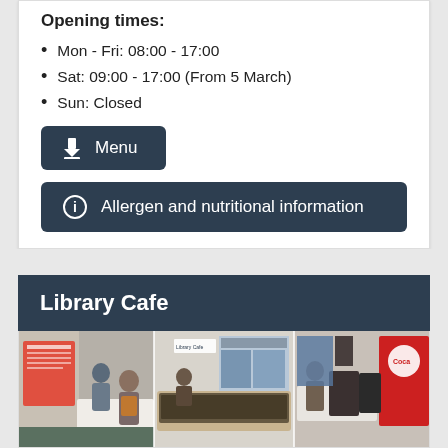Opening times:
Mon - Fri: 08:00 - 17:00
Sat: 09:00 - 17:00 (From 5 March)
Sun: Closed
Menu (button with download icon)
Allergen and nutritional information (button with info icon)
Library Cafe
[Figure (photo): Three-panel photo collage of Library Cafe interior showing counter, display cases, customers, drinks fridges, and Coca-Cola display]